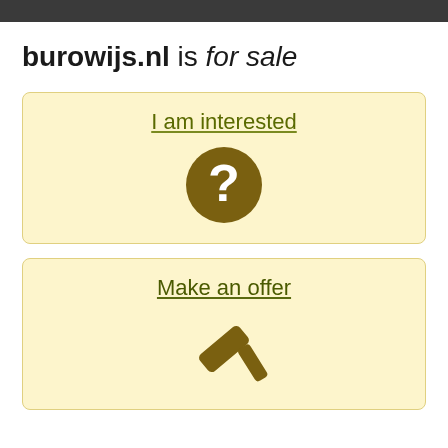burowijs.nl is for sale
I am interested
[Figure (illustration): Dark yellow circle with white question mark icon]
Make an offer
[Figure (illustration): Dark yellow gavel/hammer icon]